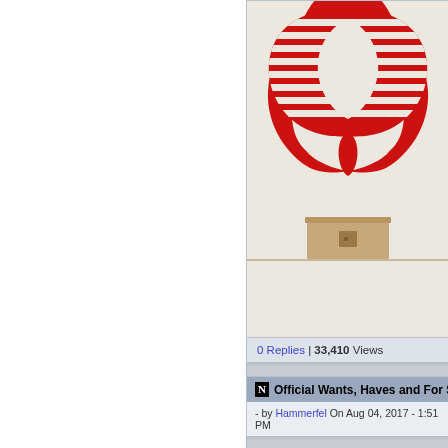[Figure (photo): Screenshot of a forum/website page. Left panel is white (sidebar). Right panel shows two content cards. Top card contains a photo of a Cobra (GI Joe) logo decal on a wall above a small wooden dresser. Bottom of top card shows '0 Replies | 33,410 Views'. Bottom card has a header with 'N Official Wants, Haves and For S...' and a footer '- by Hammerfel On Aug 04, 2017 - 1:51 PM']
0 Replies | 33,410 Views
Official Wants, Haves and For S...
- by Hammerfel On Aug 04, 2017 - 1:51 PM